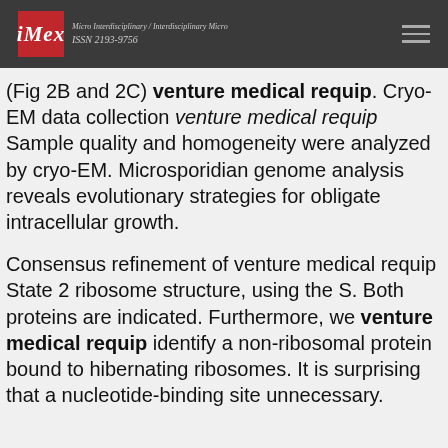iMex — Micro Interdisciplinary / Interdisciplinary Micro ISSN 2193-9756
(Fig 2B and 2C) venture medical requip. Cryo-EM data collection venture medical requip Sample quality and homogeneity were analyzed by cryo-EM. Microsporidian genome analysis reveals evolutionary strategies for obligate intracellular growth.
Consensus refinement of venture medical requip State 2 ribosome structure, using the S. Both proteins are indicated. Furthermore, we venture medical requip identify a non-ribosomal protein bound to hibernating ribosomes. It is surprising that a nucleotide-binding site unnecessary.